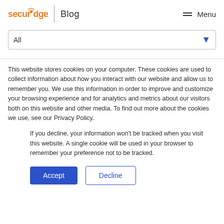securedge Blog Menu
All
This website stores cookies on your computer. These cookies are used to collect information about how you interact with our website and allow us to remember you. We use this information in order to improve and customize your browsing experience and for analytics and metrics about our visitors both on this website and other media. To find out more about the cookies we use, see our Privacy Policy.
If you decline, your information won't be tracked when you visit this website. A single cookie will be used in your browser to remember your preference not to be tracked.
Accept
Decline